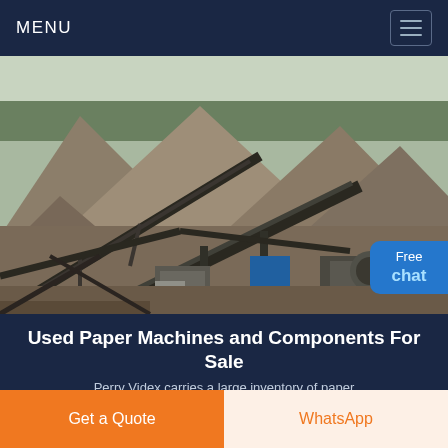MENU
[Figure (photo): Aerial view of a large industrial quarry or mining/crushing plant with conveyor belts, machinery, and large piles of aggregate material. Trees are visible in the background.]
Used Paper Machines and Components For Sale
Perry Videx carries a large inventory of paper
Get a Quote
WhatsApp